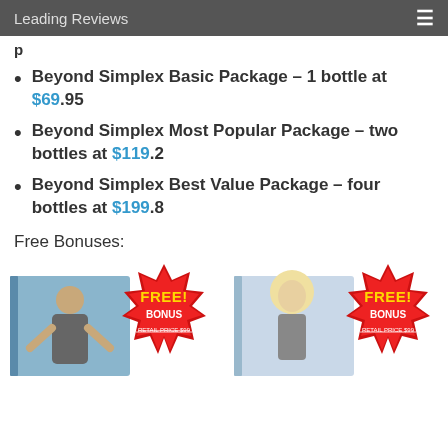Leading Reviews
Beyond Simplex Basic Package – 1 bottle at $69.95
Beyond Simplex Most Popular Package – two bottles at $119.2
Beyond Simplex Best Value Package – four bottles at $199.8
Free Bonuses:
[Figure (photo): Two side-by-side promotional bonus images showing books with red starburst FREE! BONUS badges and RETAIL PRICE $99 strikethrough text. Left image shows a person with raised arms outdoors. Right image shows a woman with long blonde hair.]